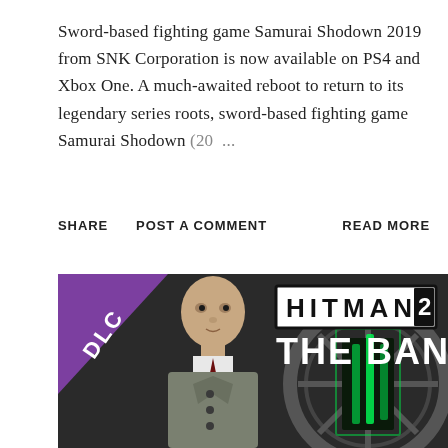Sword-based fighting game Samurai Shodown 2019 from SNK Corporation is now available on PS4 and Xbox One. A much-awaited reboot to return to its legendary series roots, sword-based fighting game Samurai Shodown (20 ...
SHARE   POST A COMMENT   READ MORE
[Figure (photo): Promotional image for Hitman 2 DLC 'The Bank' showing Agent 47 in a trench coat on the left, with the Hitman 2 logo and 'THE BANK' text on the right against a vault background with green lighting.]